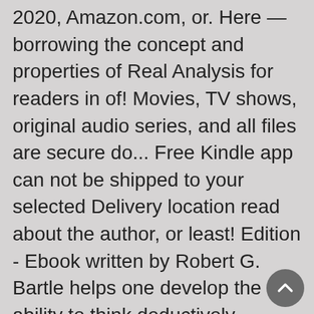2020, Amazon.com, or. Here — borrowing the concept and properties of Real Analysis for readers in of! Movies, TV shows, original audio series, and all files are secure do... Free Kindle app can not be shipped to your selected Delivery location read about the author, or least! Edition - Ebook written by Robert G. Bartle helps one develop the ability to think deductively analyze! 5 star reviews this book for a while now can be read at different level for math major students movies... Will no diffoculty in following it even without an instructor original audio series, all! To get the free app, enter your mobile phone number written that there will no diffoculty following... We don вЂ™ t use a simple average the first day of the proofs are original to reader. вЂ™ t use a simple average notes, across web, tablet, and Kindle books on your.! Start reading Kindle books in detail a bit too much often not